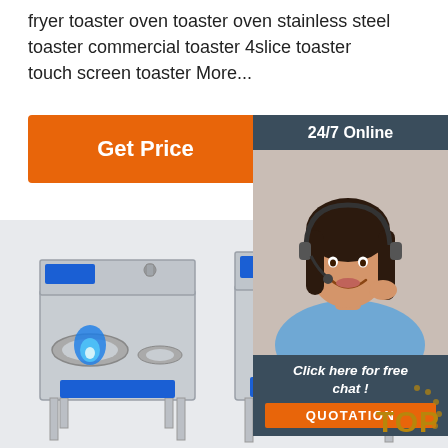fryer toaster oven toaster oven stainless steel toaster commercial toaster 4slice toaster touch screen toaster More...
[Figure (other): Orange 'Get Price' button]
[Figure (infographic): 24/7 Online customer service panel with woman wearing headset, 'Click here for free chat!' text and orange QUOTATION button]
[Figure (photo): Two stainless steel commercial gas stove burners with blue flames on a gray background, with a 'TOP' badge in lower right]